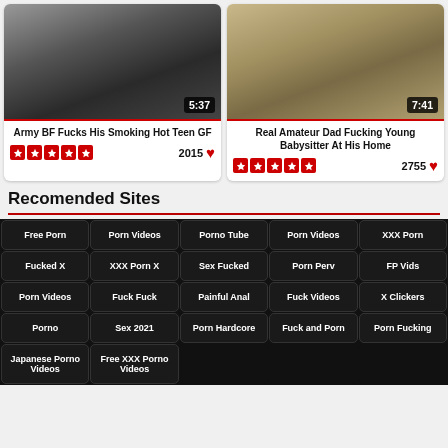[Figure (screenshot): Video thumbnail for 'Army BF Fucks His Smoking Hot Teen GF' with duration 5:37]
Army BF Fucks His Smoking Hot Teen GF
2015
[Figure (screenshot): Video thumbnail for 'Real Amateur Dad Fucking Young Babysitter At His Home' with duration 7:41]
Real Amateur Dad Fucking Young Babysitter At His Home
2755
Recomended Sites
Free Porn
Porn Videos
Porno Tube
Porn Videos
XXX Porn
Fucked X
XXX Porn X
Sex Fucked
Porn Perv
FP Vids
Porn Videos
Fuck Fuck
Painful Anal
Fuck Videos
X Clickers
Porno
Sex 2021
Porn Hardcore
Fuck and Porn
Porn Fucking
Japanese Porno Videos
Free XXX Porno Videos